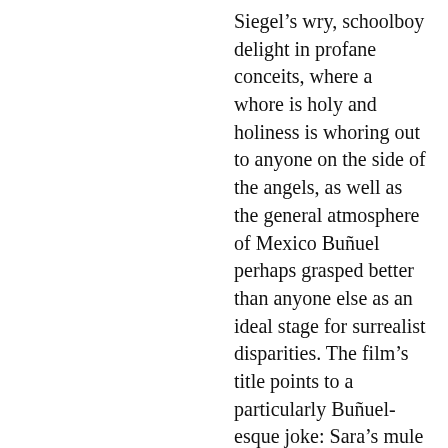Siegel’s wry, schoolboy delight in profane conceits, where a whore is holy and holiness is whoring out to anyone on the side of the angels, as well as the general atmosphere of Mexico Buñuel perhaps grasped better than anyone else as an ideal stage for surrealist disparities. The film’s title points to a particularly Buñuel-esque joke: Sara’s mule has an injured foot, giving Hogan a chance to finally leave her behind in a small village, but Sara immediately kneels to pray before a roadside shrine, whereupon a farmer rides by with an another mule for which she’s able to arrange a swap. Morricone’s droll choral chants confirm divine intervention, though the result is an extremely uneven trade. Siegel